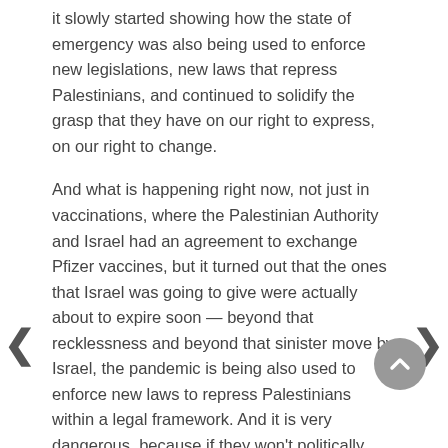it slowly started showing how the state of emergency was also being used to enforce new legislations, new laws that repress Palestinians, and continued to solidify the grasp that they have on our right to express, on our right to change.
And what is happening right now, not just in vaccinations, where the Palestinian Authority and Israel had an agreement to exchange Pfizer vaccines, but it turned out that the ones that Israel was going to give were actually about to expire soon — beyond that recklessness and beyond that sinister move by Israel, the pandemic is being also used to enforce new laws to repress Palestinians within a legal framework. And it is very dangerous, because if they won't politically assassinate us, they will shove us in jails, just like Israel does with its military detention.
AMY GOODMAN: Mariam, we just have less than a minute, but I wanted to ask you both about the new